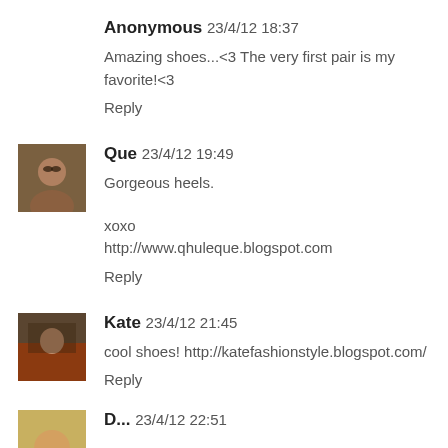Anonymous 23/4/12 18:37
Amazing shoes...<3 The very first pair is my favorite!<3
Reply
Que 23/4/12 19:49
Gorgeous heels.
xoxo
http://www.qhuleque.blogspot.com
Reply
Kate 23/4/12 21:45
cool shoes! http://katefashionstyle.blogspot.com/
Reply
D... 23/4/12 22:51